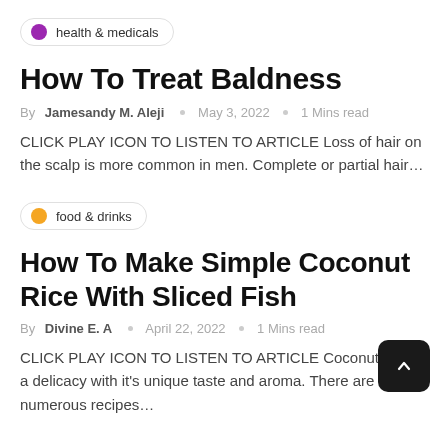health & medicals
How To Treat Baldness
By Jamesandy M. Aleji  ○  May 3, 2022  ○  1 Mins read
CLICK PLAY ICON TO LISTEN TO ARTICLE Loss of hair on the scalp is more common in men.  Complete or partial hair…
food & drinks
How To Make Simple Coconut Rice With Sliced Fish
By Divine E. A  ○  April 22, 2022  ○  1 Mins read
CLICK PLAY ICON TO LISTEN TO ARTICLE Coconut rice is a delicacy with it's unique taste and aroma. There are numerous recipes…